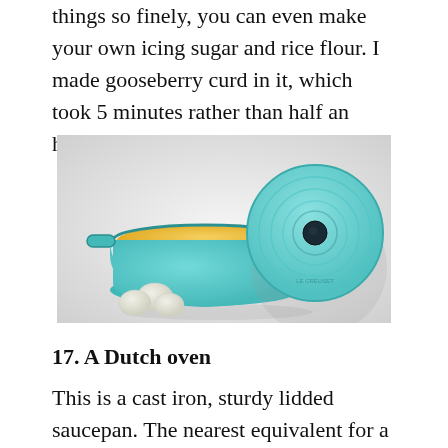things so finely, you can even make your own icing sugar and rice flour. I made gooseberry curd in it, which took 5 minutes rather than half an hour.
[Figure (photo): A light blue Le Creuset Dutch oven with yellow interior, its circular lid leaning against it showing Le Creuset branding, with white gooseberries in front on a light grey background.]
17. A Dutch oven
This is a cast iron, sturdy lidded saucepan. The nearest equivalent for a domestic kitchen rather than on a dusty cowboy trail is Le Creuset